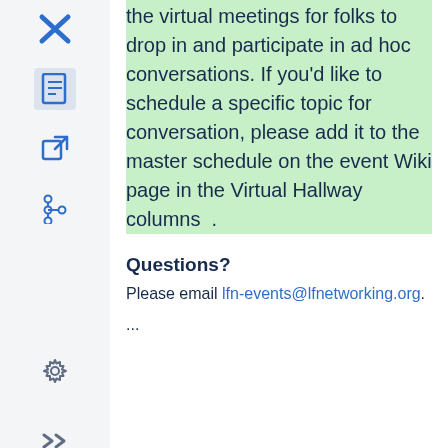the virtual meetings for folks to drop in and participate in ad hoc conversations. If you'd like to schedule a specific topic for conversation, please add it to the master schedule on the event Wiki page in the Virtual Hallway columns .
Questions?
Please email lfn-events@lfnetworking.org.
...
Powered by a free Atlassian Confluence Community License granted to The Linux Foundation. Evaluate Confluence today. This Confluence installation runs a Free Gliffy License - Evaluate the Gliffy Confluence Plugin for your Wiki! Powered by Atlassian Confluence 7.4.17 · Report a bug · Atlassian News